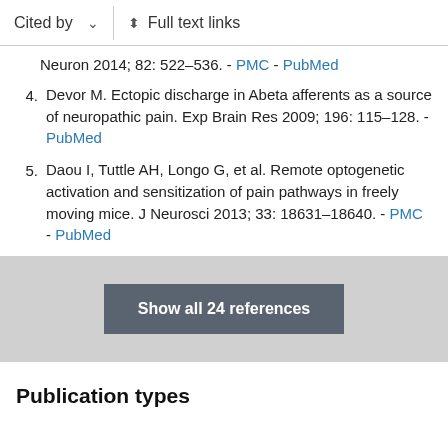Cited by   ∨   Full text links
Neuron 2014; 82: 522–536. - PMC - PubMed
4. Devor M. Ectopic discharge in Abeta afferents as a source of neuropathic pain. Exp Brain Res 2009; 196: 115–128. - PubMed
5. Daou I, Tuttle AH, Longo G, et al. Remote optogenetic activation and sensitization of pain pathways in freely moving mice. J Neurosci 2013; 33: 18631–18640. - PMC - PubMed
Show all 24 references
Publication types